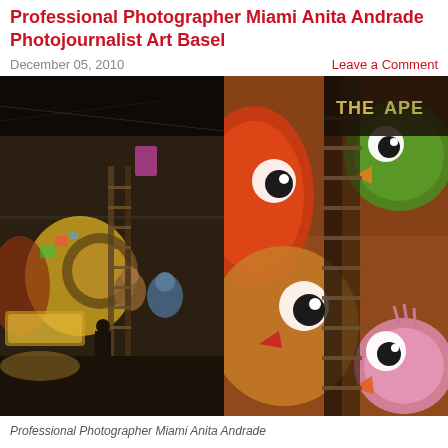Professional Photographer Miami Anita Andrade Photojournalist Art Basel
December 05, 2010
Leave a Comment
[Figure (photo): Two side-by-side photographs of graffiti murals at Art Basel Miami. Left: wide nighttime shot of a large graffiti mural wall with a person and ladder in the foreground. Right: close-up daytime shot of colorful cartoon bird characters painted on a wall with a ladder.]
Professional Photographer Miami Anita Andrade